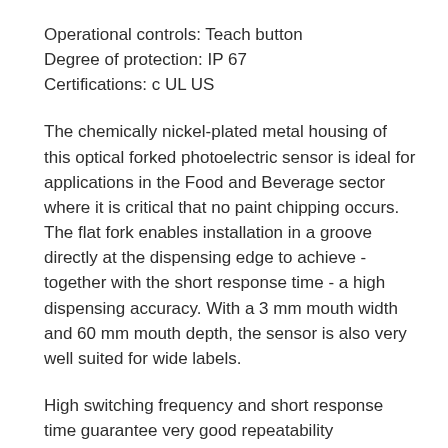Operational controls: Teach button
Degree of protection: IP 67
Certifications: c UL US
The chemically nickel-plated metal housing of this optical forked photoelectric sensor is ideal for applications in the Food and Beverage sector where it is critical that no paint chipping occurs. The flat fork enables installation in a groove directly at the dispensing edge to achieve - together with the short response time - a high dispensing accuracy. With a 3 mm mouth width and 60 mm mouth depth, the sensor is also very well suited for wide labels.
High switching frequency and short response time guarantee very good repeatability
Easy adjustment via lockable teach button or teach input
Slimline-design (reduced fork height) for installation directly at the dispensing edge
ALC (auto level control) function: maximum performance